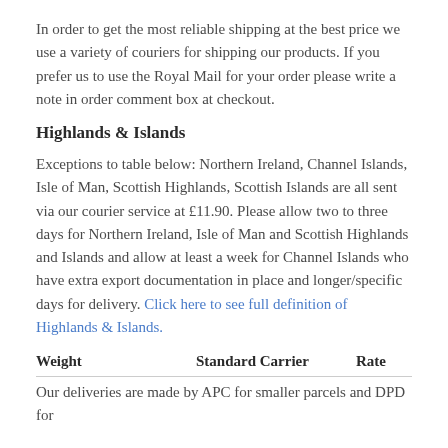In order to get the most reliable shipping at the best price we use a variety of couriers for shipping our products.  If you prefer us to use the Royal Mail for your order please write a note in order comment box at checkout.
Highlands & Islands
Exceptions to table below:  Northern Ireland, Channel Islands, Isle of Man, Scottish Highlands, Scottish Islands are all sent via our courier service at £11.90.  Please allow two to three days for Northern Ireland, Isle of Man and Scottish Highlands and Islands and allow at least a week for Channel Islands who have extra export documentation in place and longer/specific days for delivery.   Click here to see full definition of Highlands & Islands.
| Weight | Standard Carrier | Rate |
| --- | --- | --- |
| Our deliveries are made by APC for smaller parcels and DPD for |  |  |